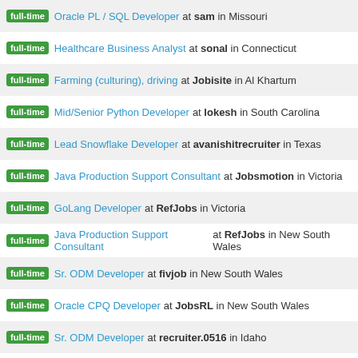full-time Oracle PL / SQL Developer at sam in Missouri
full-time Healthcare Business Analyst at sonal in Connecticut
full-time Farming (culturing), driving at Jobisite in Al Khartum
full-time Mid/Senior Python Developer at lokesh in South Carolina
full-time Lead Snowflake Developer at avanishitrecruiter in Texas
full-time Java Production Support Consultant at Jobsmotion in Victoria
full-time GoLang Developer at RefJobs in Victoria
full-time Java Production Support Consultant at RefJobs in New South Wales
full-time Sr. ODM Developer at fivjob in New South Wales
full-time Oracle CPQ Developer at JobsRL in New South Wales
full-time Sr. ODM Developer at recruiter.0516 in Idaho
full-time Informatica System Analyst at i-tecsol in Arizona
full-time Snowflake Developer at avanishitrecruiter in Texas
full-time Data Engineer at anshrecruiter1 in California
full-time Sr. Data Engineer at ... in ...